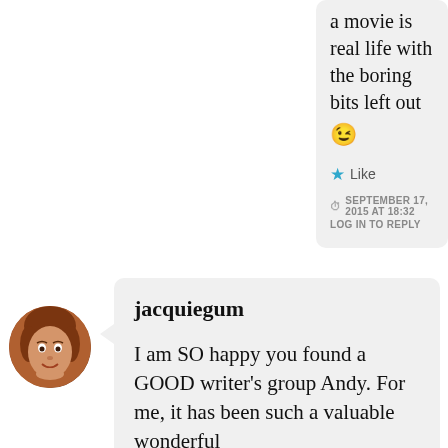a movie is real life with the boring bits left out 😉
★ Like
SEPTEMBER 17, 2015 AT 18:32
LOG IN TO REPLY
jacquiegum
I am SO happy you found a GOOD writer's group Andy. For me, it has been such a valuable wonderful